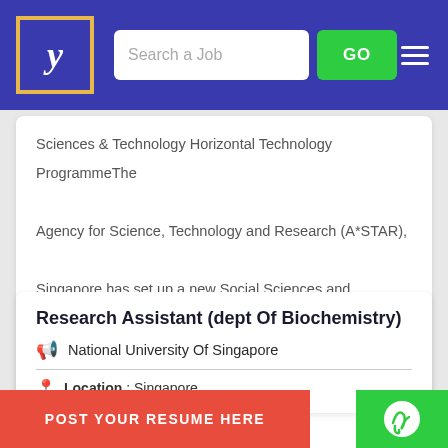Search a Job | GO
Sciences & Technology Horizontal Technology ProgrammeThe Agency for Science, Technology and Research (A*STAR), Singapore has set up a new Social Sciences and Technology Horizontal Technology Programme. The Programme, to be hosted in the Institute...
Research Assistant (dept Of Biochemistry)
National University Of Singapore
Location : Singapore
POST YOUR RESUME HERE